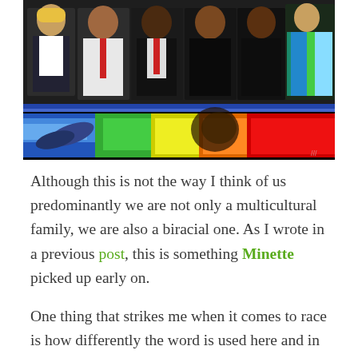[Figure (illustration): A mural artwork showing multiple figures/people painted on a wall, with a rainbow stripe band of colors (blue, green, yellow, orange, red) running horizontally across the lower portion of the mural.]
Although this is not the way I think of us predominantly we are not only a multicultural family, we are also a biracial one. As I wrote in a previous post, this is something Minette picked up early on.
One thing that strikes me when it comes to race is how differently the word is used here and in France. In the USA there is no reluctance to use it regardless of one's political leaning. I would even